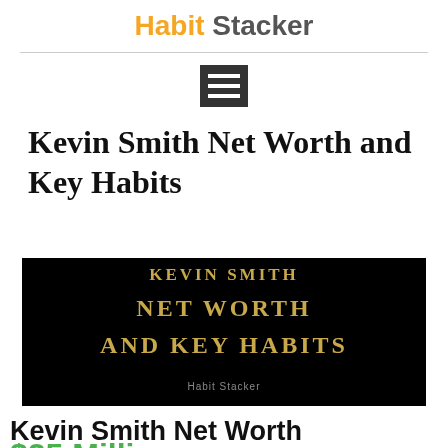Habit Stacker
[Figure (screenshot): Hamburger menu icon — three horizontal white lines on a dark background square button]
Kevin Smith Net Worth and Key Habits
[Figure (illustration): Black background banner image with gold/yellow serif text reading 'KEVIN SMITH NET WORTH AND KEY HABITS' and small 'Habit Stacker' watermark at bottom]
Kevin Smith Net Worth
$25 Milli...